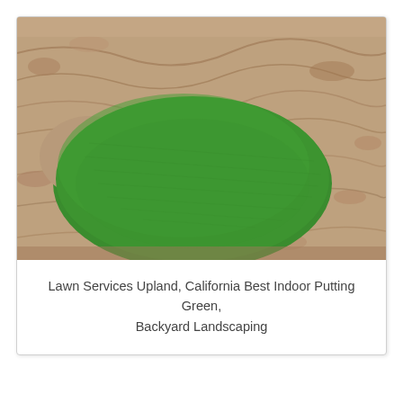[Figure (photo): Close-up photo of an artificial putting green (bright green turf shaped in an oval/kidney shape) surrounded by brown decomposed granite or crushed rock ground cover. The green has a smooth, carpet-like texture.]
Lawn Services Upland, California Best Indoor Putting Green, Backyard Landscaping